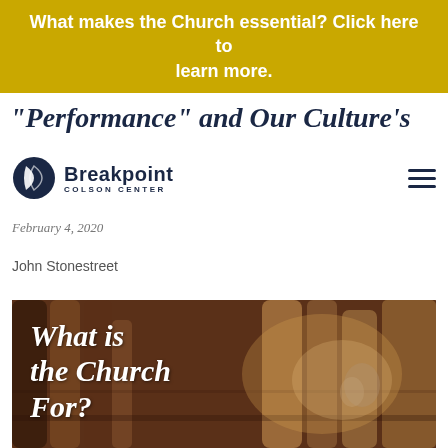What makes the Church essential? Click here to learn more.
"Performance" and Our Culture's
[Figure (logo): Breakpoint Colson Center logo with circular icon on left and text on right]
February 4, 2020
John Stonestreet
[Figure (photo): Church pews in warm brown wood tones with overlaid white italic bold text reading 'What is the Church For?']